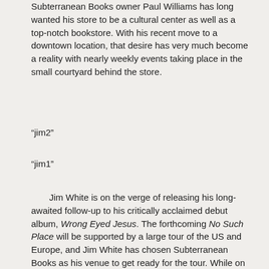Subterranean Books owner Paul Williams has long wanted his store to be a cultural center as well as a top-notch bookstore. With his recent move to a downtown location, that desire has very much become a reality with nearly weekly events taking place in the small courtyard behind the store.
“jim2”
“jim1”
Jim White is on the verge of releasing his long-awaited follow-up to his critically acclaimed debut album, Wrong Eyed Jesus. The forthcoming No Such Place will be supported by a large tour of the US and Europe, and Jim White has chosen Subterranean Books as his venue to get ready for the tour. While on tour, White is going to be playing with a five-piece band, but for certain intimate settings Jim White is going to play a stripped-down version of the show with himself and guitarist Chris Henrich. That was the line up that played before about forty people in the Subterranean Books courtyard. Songs from Wrong Eyed Jesus (“Perfect Day to